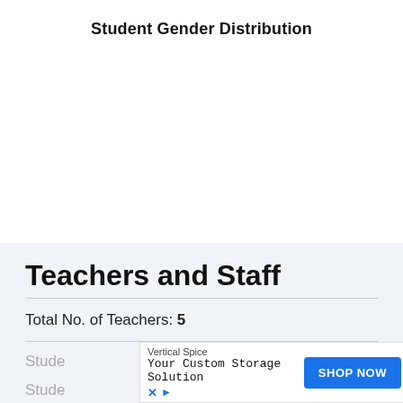Student Gender Distribution
Teachers and Staff
Total No. of Teachers: 5
Stude…
Stude…